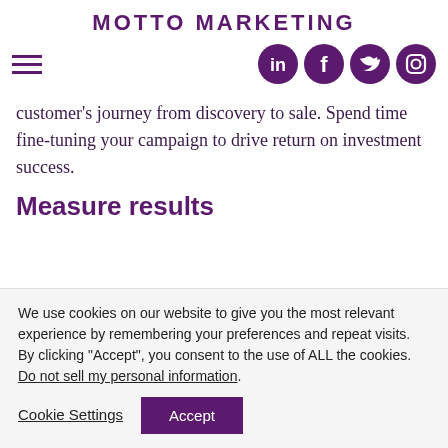MOTTO MARKETING
[Figure (other): Hamburger menu icon (three horizontal lines) on the left, and four social media icons (LinkedIn, Facebook, Twitter, Instagram) as purple circles on the right]
customer's journey from discovery to sale. Spend time fine-tuning your campaign to drive return on investment success.
Measure results
We use cookies on our website to give you the most relevant experience by remembering your preferences and repeat visits. By clicking “Accept”, you consent to the use of ALL the cookies.
Do not sell my personal information.
Cookie Settings   Accept